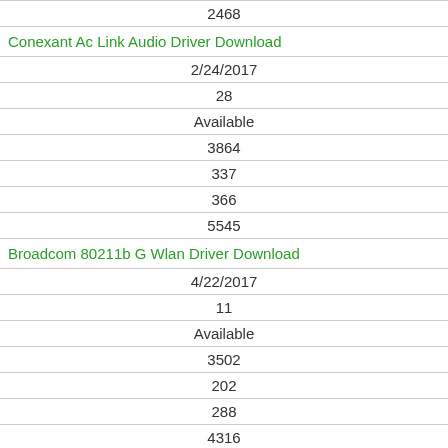| 2468 |
| Conexant Ac Link Audio Driver Download |
| 2/24/2017 |
| 28 |
| Available |
| 3864 |
| 337 |
| 366 |
| 5545 |
| Broadcom 80211b G Wlan Driver Download |
| 4/22/2017 |
| 11 |
| Available |
| 3502 |
| 202 |
| 288 |
| 4316 |
| Officejet Pro 8500 A909a Dot4prt Driver Download |
| 4/25/2017 |
| 22 |
| Available |